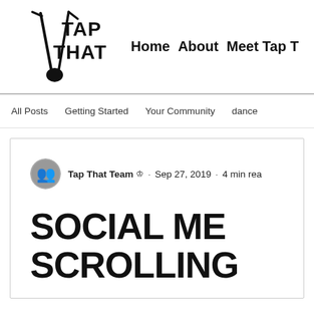[Figure (logo): Tap That logo with drum sticks illustration and bold text TAP THAT]
Home   About   Meet Tap T...
All Posts   Getting Started   Your Community   dance
[Figure (photo): Small circular avatar photo of Tap That Team]
Tap That Team 👑 · Sep 27, 2019 · 4 min rea...
SOCIAL ME... SCROLLING